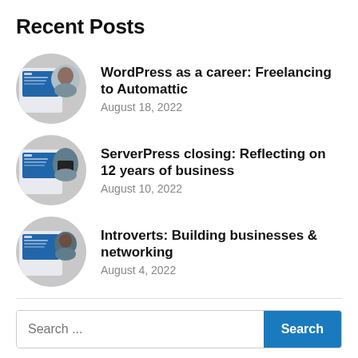Recent Posts
WordPress as a career: Freelancing to Automattic — August 18, 2022
ServerPress closing: Reflecting on 12 years of business — August 10, 2022
Introverts: Building businesses & networking — August 4, 2022
Search ...